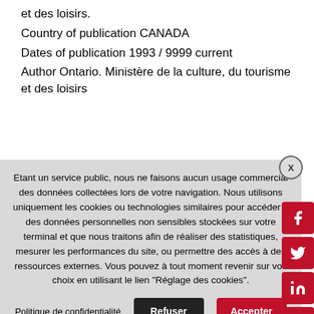et des loisirs.
Country of publication CANADA
Dates of publication 1993 / 9999 current
Author Ontario. Ministère de la culture, du tourisme et des loisirs
Etant un service public, nous ne faisons aucun usage commercial des données collectées lors de votre navigation. Nous utilisons uniquement les cookies ou technologies similaires pour accéder à des données personnelles non sensibles stockées sur votre terminal et que nous traitons afin de réaliser des statistiques, mesurer les performances du site, ou permettre des accès à des ressources externes. Vous pouvez à tout moment revenir sur vos choix en utilisant le lien "Réglage des cookies".
Politique de confidentialité
Refuser
Accepter
Réglage des cookies